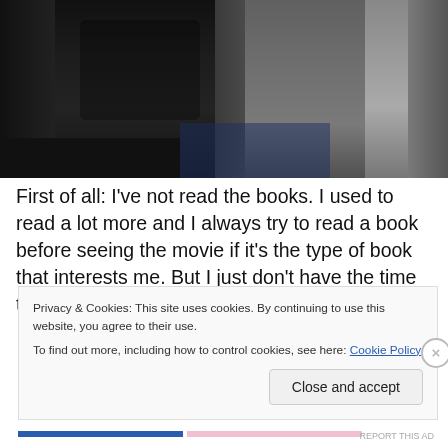[Figure (photo): Two people standing together indoors — a person in a dark quilted jacket on the left and a person in a grey sleeveless top on the right, against a dimly lit interior background]
First of all: I've not read the books. I used to read a lot more and I always try to read a book before seeing the movie if it's the type of book that interests me. But I just don't have the time to read anymore (I've been reading
Privacy & Cookies: This site uses cookies. By continuing to use this website, you agree to their use.
To find out more, including how to control cookies, see here: Cookie Policy
Close and accept